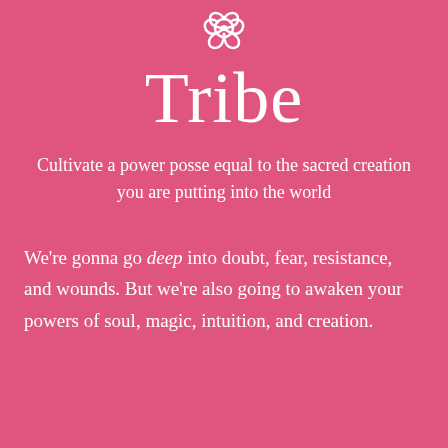[Figure (logo): White decorative floral/swirl logo at top center]
Tribe
Cultivate a power posse equal to the sacred creation you are putting into the world
We're gonna go deep into doubt, fear, resistance, and wounds. But we're also going to awaken your powers of soul, magic, intuition, and creation.